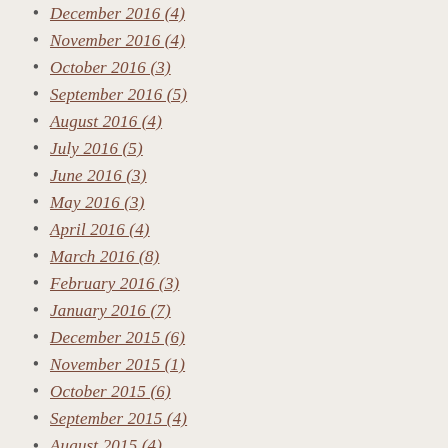December 2016 (4)
November 2016 (4)
October 2016 (3)
September 2016 (5)
August 2016 (4)
July 2016 (5)
June 2016 (3)
May 2016 (3)
April 2016 (4)
March 2016 (8)
February 2016 (3)
January 2016 (7)
December 2015 (6)
November 2015 (1)
October 2015 (6)
September 2015 (4)
August 2015 (4)
July 2015 (4)
June 2015 (6)
May 2015 (3)
April 2015 (2)
March 2015 (4)
February 2015 (4)
January 2015 (3)
December 2014 (4)
November 2014 (4)